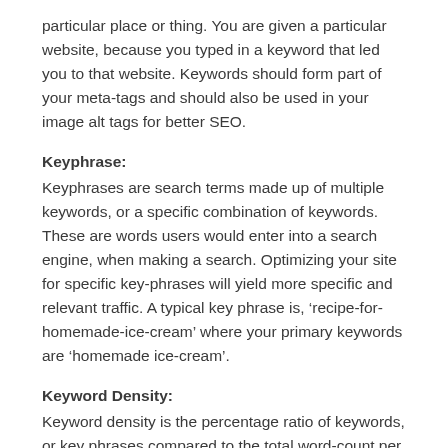particular place or thing. You are given a particular website, because you typed in a keyword that led you to that website. Keywords should form part of your meta-tags and should also be used in your image alt tags for better SEO.
Keyphrase:
Keyphrases are search terms made up of multiple keywords, or a specific combination of keywords. These are words users would enter into a search engine, when making a search. Optimizing your site for specific key-phrases will yield more specific and relevant traffic. A typical key phrase is, ‘recipe-for-homemade-ice-cream’ where your primary keywords are ‘homemade ice-cream’.
Keyword Density:
Keyword density is the percentage ratio of keywords, or key phrases compared to the total word-count per page.